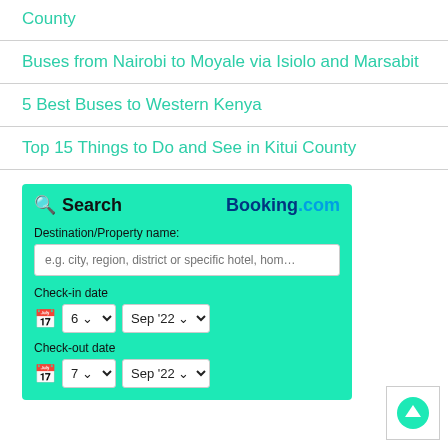County
Buses from Nairobi to Moyale via Isiolo and Marsabit
5 Best Buses to Western Kenya
Top 15 Things to Do and See in Kitui County
[Figure (screenshot): Booking.com search widget with teal background, search icon, destination field, check-in date (6 Sep '22) and check-out date (7 Sep '22) selectors]